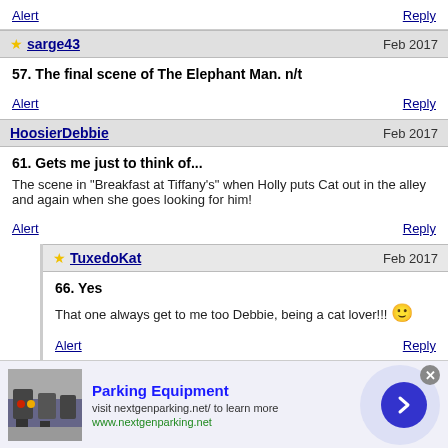Alert    Reply
sarge43   Feb 2017
57. The final scene of The Elephant Man. n/t
Alert    Reply
HoosierDebbie   Feb 2017
61. Gets me just to think of...
The scene in "Breakfast at Tiffany's" when Holly puts Cat out in the alley and again when she goes looking for him!
Alert    Reply
TuxedoKat   Feb 2017
66. Yes
That one always get to me too Debbie, being a cat lover!!!
Alert    Reply
[Figure (infographic): Advertisement banner for Parking Equipment with photo of parking lot, text 'Parking Equipment', 'visit nextgenparking.net/ to learn more', 'www.nextgenparking.net', close button, and arrow navigation button]